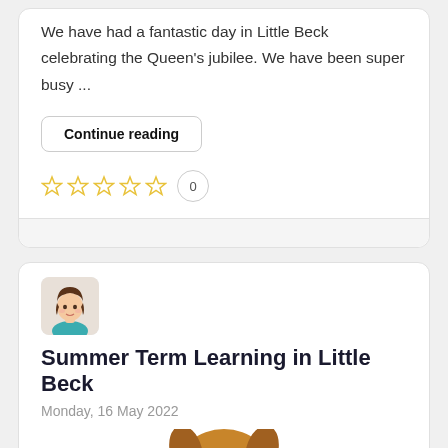We have had a fantastic day in Little Beck celebrating the Queen's jubilee. We have been super busy ...
Continue reading
[Figure (other): Five empty star rating icons in gold/yellow outline, followed by a circular badge showing the number 0]
[Figure (illustration): Avatar illustration of a woman with brown hair, wearing a teal/blue top]
Summer Term Learning in Little Beck
Monday, 16 May 2022
[Figure (photo): Photo of a golden/tan dog holding a small colorful item in its mouth, cropped at the bottom of the page]